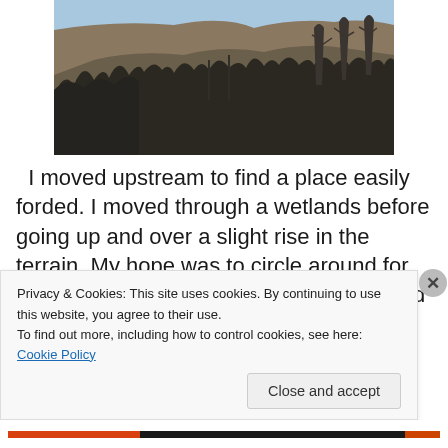[Figure (photo): Outdoor nature photo showing a rocky hillside with bare winter trees in the foreground and a blue sky at the top]
I moved upstream to find a place easily forded. I moved through a wetlands before going up and over a slight rise in the terrain. My hope was to circle around for better photos. The bear was never viewed again although I moved up a hollow and up over a hill. I was tickled at
Privacy & Cookies: This site uses cookies. By continuing to use this website, you agree to their use.
To find out more, including how to control cookies, see here: Cookie Policy
Close and accept